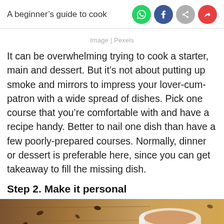A beginner's guide to cooking a Valen…
Image | Pexels
It can be overwhelming trying to cook a starter, main and dessert. But it's not about putting up smoke and mirrors to impress your lover-cum-patron with a wide spread of dishes. Pick one course that you're comfortable with and have a recipe handy. Better to nail one dish than have a few poorly-prepared courses. Normally, dinner or dessert is preferable here, since you can get takeaway to fill the missing dish.
Step 2. Make it personal
[Figure (photo): A partial photo showing a cup of coffee/hot drink on a wooden surface with scattered coffee beans and a red item, cropped at the bottom of the page.]